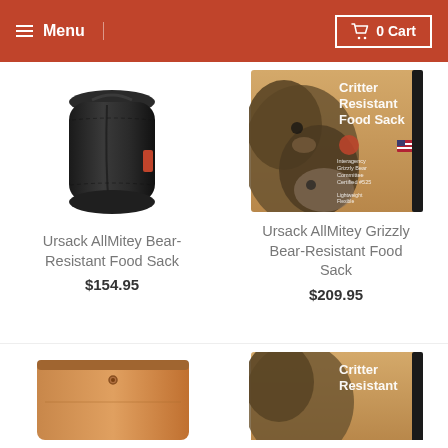Menu | 0 Cart
[Figure (photo): Black rolled fabric bear-resistant food sack standing upright]
Ursack AllMitey Bear-Resistant Food Sack
$154.95
[Figure (photo): Kraft brown product box showing a grizzly bear and raccoon, labeled Critter Resistant Food Sack]
Ursack AllMitey Grizzly Bear-Resistant Food Sack
$209.95
[Figure (photo): Brown flat pouch product, partially visible at bottom]
[Figure (photo): Kraft brown product box labeled Critter Resistant, partially visible at bottom]